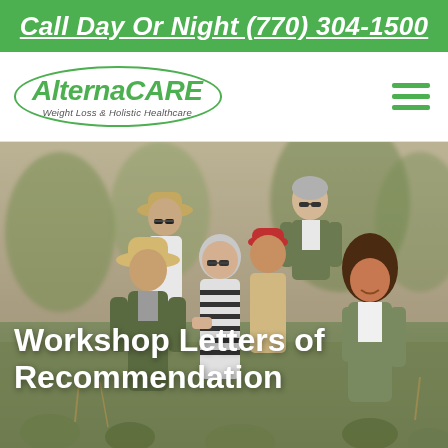Call Day Or Night (770) 304-1500
[Figure (logo): AlternaCARE Weight Loss & Holistic Healthcare oval logo in green]
[Figure (photo): Group of middle-aged friends walking outdoors in a field, smiling and enjoying each other's company]
Workshop Letters of Recommendation